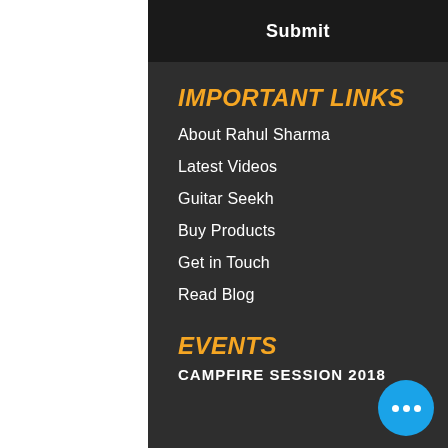Submit
IMPORTANT LINKS
About Rahul Sharma
Latest Videos
Guitar Seekh
Buy Products
Get in Touch
Read Blog
EVENTS
CAMPFIRE SESSION 2018